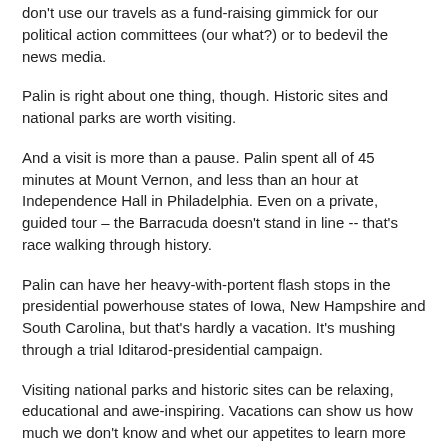don't use our travels as a fund-raising gimmick for our political action committees (our what?) or to bedevil the news media.
Palin is right about one thing, though. Historic sites and national parks are worth visiting.
And a visit is more than a pause. Palin spent all of 45 minutes at Mount Vernon, and less than an hour at Independence Hall in Philadelphia. Even on a private, guided tour – the Barracuda doesn't stand in line -- that's race walking through history.
Palin can have her heavy-with-portent flash stops in the presidential powerhouse states of Iowa, New Hampshire and South Carolina, but that's hardly a vacation. It's mushing through a trial Iditarod-presidential campaign.
Visiting national parks and historic sites can be relaxing, educational and awe-inspiring. Vacations can show us how much we don't know and whet our appetites to learn more about American history and genius.